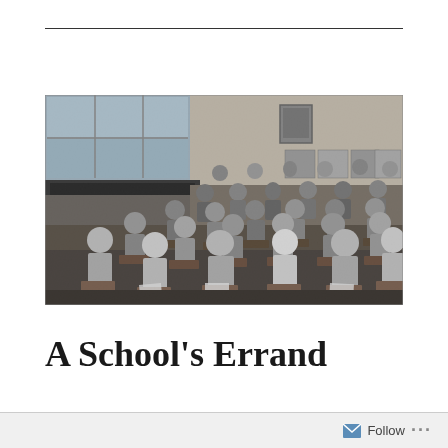[Figure (photo): Black and white photograph of a vintage school classroom with rows of children sitting at wooden desks, facing the camera. A blackboard and educational posters are visible on the walls. A teacher or adult figure appears at the back left. Large windows let in natural light.]
A School's Errand